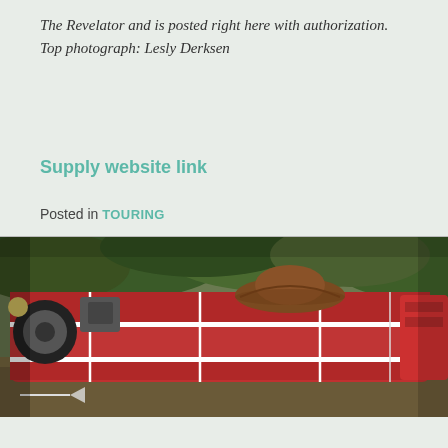The Revelator and is posted right here with authorization. Top photograph: Lesly Derksen
Supply website link
Posted in TOURING
[Figure (photo): An overturned red vehicle (appears to be a vintage car or fire truck) lying on its side near green bushes/trees. The vehicle is red with white stripe markings. A brown hat is visible on top of the wreck.]